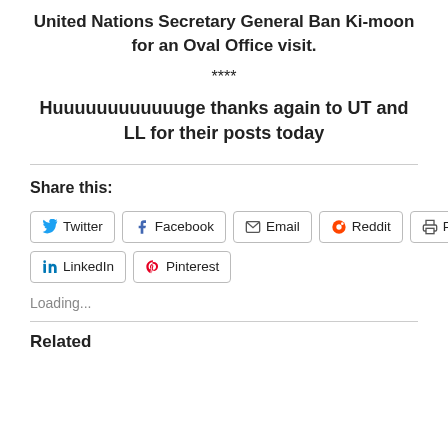United Nations Secretary General Ban Ki-moon for an Oval Office visit.
****
Huuuuuuuuuuuuge thanks again to UT and LL for their posts today
Share this:
Twitter  Facebook  Email  Reddit  Print  LinkedIn  Pinterest
Loading...
Related